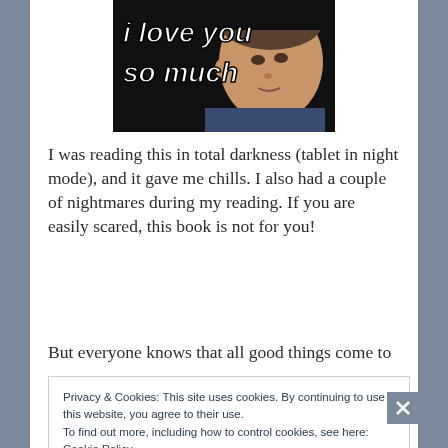[Figure (illustration): Meme image showing a woman with text overlay 'i love you so much' in bold white italic letters on a dark background]
I was reading this in total darkness (tablet in night mode), and it gave me chills. I also had a couple of nightmares during my reading. If you are easily scared, this book is not for you!
But everyone knows that all good things come to
Privacy & Cookies: This site uses cookies. By continuing to use this website, you agree to their use.
To find out more, including how to control cookies, see here:
Cookie Policy
Close and accept